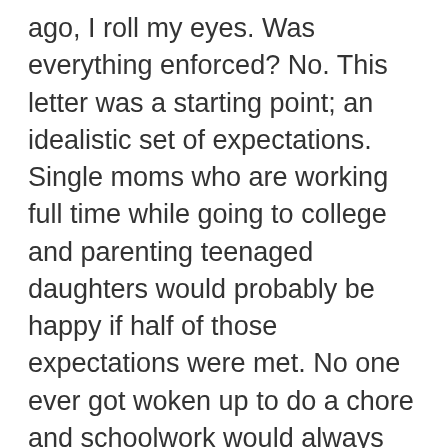ago, I roll my eyes. Was everything enforced? No. This letter was a starting point; an idealistic set of expectations. Single moms who are working full time while going to college and parenting teenaged daughters would probably be happy if half of those expectations were met. No one ever got woken up to do a chore and schoolwork would always come first, but I wasn't going to offer any excuses! Parenting with intentionality was tiring, but I was never too exhausted to put the computer keyboard in my car and tie wrap the computer or television power cord to a table leg before I went to work if someone had lost their computer or tv privileges. Ten years later, I look back with great satisfaction. They are both independent, responsible, married young women. My respect and admiration for each of them is immense. I can't wait to see how they parent their own children. But I'll have to. I'm not old enough to be a grandma